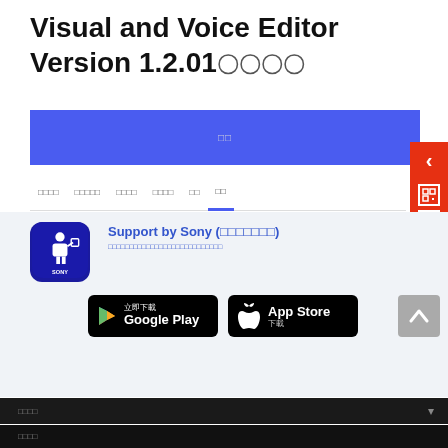Visual and Voice Editor Version 1.2.01[?][?][?][?]
[Figure (screenshot): Blue navigation banner with light text]
[?][?][?][?][?] [?][?][?][?][?][?] [?][?][?][?][?] [?][?][?][?][?] [?][?] [?][?]
[Figure (logo): Sony Support app icon - dark blue with presenter figure and SONY label]
Support by Sony ([?][?][?][?][?][?][?])
[?][?][?][?][?][?][?][?][?][?][?][?][?][?][?][?][?][?][?][?][?][?][?][?][?][?][?]
[Figure (screenshot): Google Play download button - black rounded rectangle with Play icon and text 'Google Play / 立即下載']
[Figure (screenshot): App Store download button - black rounded rectangle with Apple icon and text 'App Store / 下載']
[?][?][?][?]
[?][?][?][?]